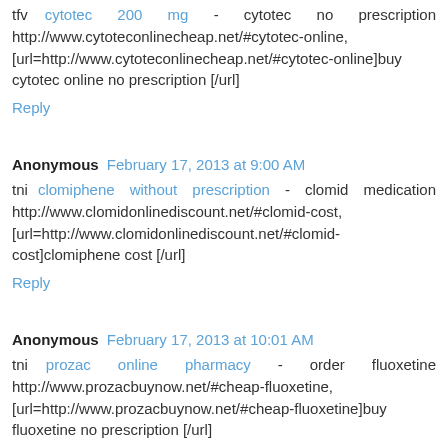tfv cytotec 200 mg - cytotec no prescription http://www.cytoteconlinecheap.net/#cytotec-online, [url=http://www.cytoteconlinecheap.net/#cytotec-online]buy cytotec online no prescription [/url]
Reply
Anonymous February 17, 2013 at 9:00 AM
tni clomiphene without prescription - clomid medication http://www.clomidonlinediscount.net/#clomid-cost, [url=http://www.clomidonlinediscount.net/#clomid-cost]clomiphene cost [/url]
Reply
Anonymous February 17, 2013 at 10:01 AM
tni prozac online pharmacy - order fluoxetine http://www.prozacbuynow.net/#cheap-fluoxetine, [url=http://www.prozacbuynow.net/#cheap-fluoxetine]buy fluoxetine no prescription [/url]